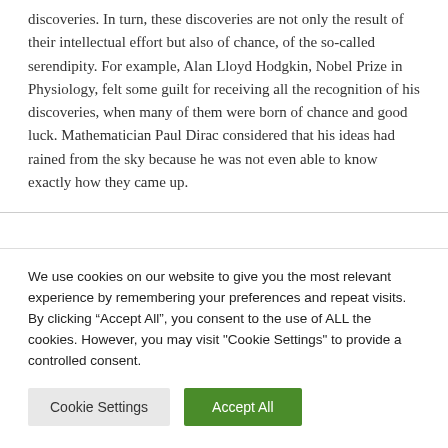discoveries. In turn, these discoveries are not only the result of their intellectual effort but also of chance, of the so-called serendipity. For example, Alan Lloyd Hodgkin, Nobel Prize in Physiology, felt some guilt for receiving all the recognition of his discoveries, when many of them were born of chance and good luck. Mathematician Paul Dirac considered that his ideas had rained from the sky because he was not even able to know exactly how they came up.
We use cookies on our website to give you the most relevant experience by remembering your preferences and repeat visits. By clicking "Accept All", you consent to the use of ALL the cookies. However, you may visit "Cookie Settings" to provide a controlled consent.